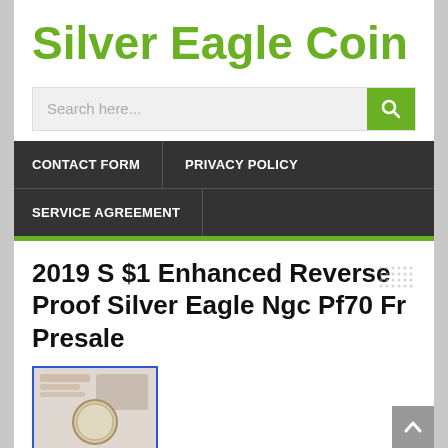Silver Eagle Coin
[Figure (screenshot): Search bar with placeholder text 'Search here...' and a green search button with magnifying glass icon]
CONTACT FORM   PRIVACY POLICY   SERVICE AGREEMENT
2019 S $1 Enhanced Reverse Proof Silver Eagle Ngc Pf70 Fr Presale
[Figure (photo): Partial thumbnail of a coin product image with blue border]